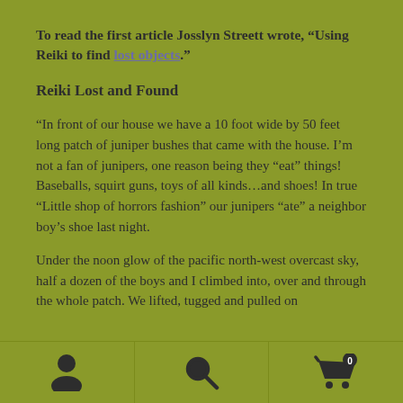To read the first article Josslyn Streett wrote, “Using Reiki to find lost objects.”
Reiki Lost and Found
“In front of our house we have a 10 foot wide by 50 feet long patch of juniper bushes that came with the house. I’m not a fan of junipers, one reason being they “eat” things! Baseballs, squirt guns, toys of all kinds…and shoes! In true “Little shop of horrors fashion” our junipers “ate” a neighbor boy’s shoe last night.
Under the noon glow of the pacific north-west overcast sky, half a dozen of the boys and I climbed into, over and through the whole patch. We lifted, tugged and pulled on